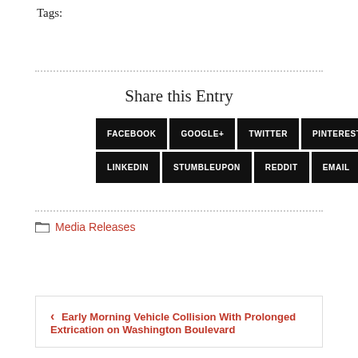Tags:
Share this Entry
FACEBOOK  GOOGLE+  TWITTER  PINTEREST  LINKEDIN  STUMBLEUPON  REDDIT  EMAIL
Media Releases
< Early Morning Vehicle Collision With Prolonged Extrication on Washington Boulevard